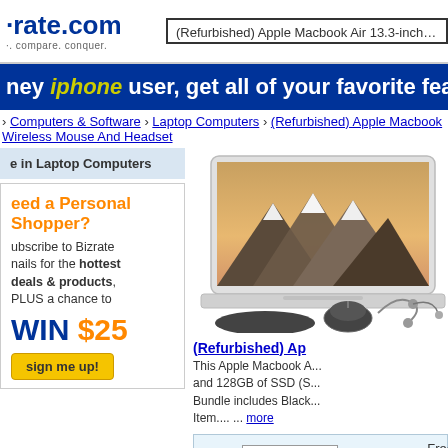(Refurbished) Apple Macbook Air 13.3-inch, Intel C
[Figure (infographic): Blue banner with text: 'ney iphone user, get all of your favorite feat' where iphone is in yellow-green italic]
› Computers & Software › Laptop Computers › (Refurbished) Apple Macbook
Wireless Mouse And Headset
e in Laptop Computers
eed a Personal Shopper? ubscribe to Bizrate nails for the hottest deals & products, PLUS a chance to WIN $25 sign me up!
[Figure (photo): Apple MacBook Air laptop with mountain scenery on screen, with wireless mouse, mousepad, and earbuds/headset accessories below]
(Refurbished) Ap
This Apple Macbook A...
and 128GB of SSD (S...
Bundle includes Black...
Item.... ... more
| Sort: | Best Match | Show: | Free Shippi |
| --- | --- | --- | --- |
Apple 13.6" MacBook Air (M2...
*Save The Tax Instantly! Use B&H
[Pre Order - allow extra time] Apple 13
Best Selle